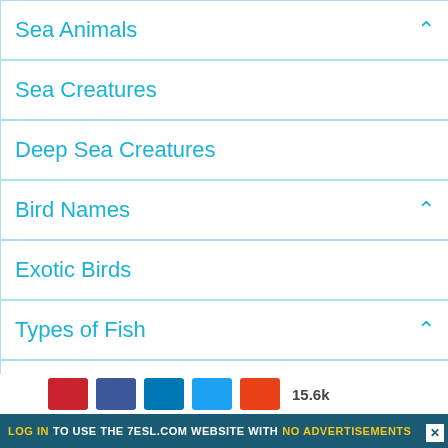Sea Animals
Sea Creatures
Deep Sea Creatures
Bird Names
Exotic Birds
Types of Fish
Deep Sea Fish
Amphibians
Reptiles
Insects
Spiders
LOG IN TO USE THE 7ESL.COM WEBSITE WITH NO ADVERTISEMENTS